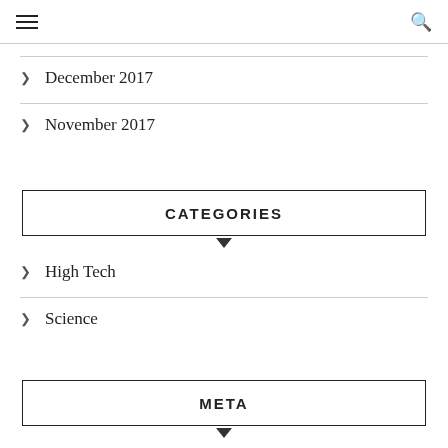≡  🔍
> December 2017
> November 2017
CATEGORIES
> High Tech
> Science
META